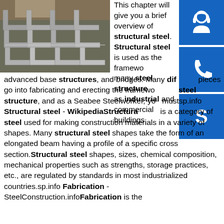[Figure (photo): Photo of stacked structural steel angle iron pieces in a warehouse setting, grey/silver metallic L-shaped steel profiles stacked in rows]
[Figure (illustration): Blue square icon with white headset/customer support icon]
[Figure (illustration): Blue square icon with white telephone/phone icon]
[Figure (illustration): Blue square icon with white Skype logo icon]
This chapter will give you a brief overview of structural steel. Structural steel is used as the framework of many steel structures such as industrial and commercial buildings, advanced base structures, and bridges. Many different pieces go into fabricating and erecting the framework of a steel structure, and as a Seabee Steelworker, you mustsp.info Structural steel - WikipediaStructural steel is a category of steel used for making construction materials in a variety of shapes. Many structural steel shapes take the form of an elongated beam having a profile of a specific cross section.Structural steel shapes, sizes, chemical composition, mechanical properties such as strengths, storage practices, etc., are regulated by standards in most industrialized countries.sp.info Fabrication - SteelConstruction.infoFabrication is the